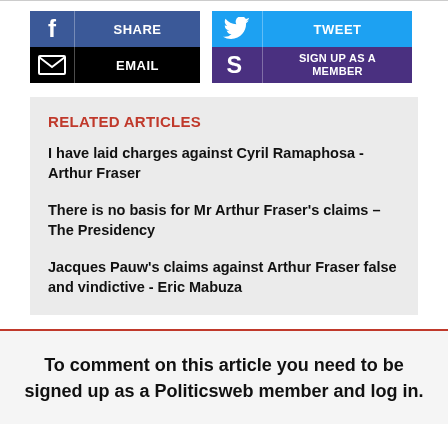[Figure (screenshot): Social sharing buttons: Facebook Share, Email, Tweet, Sign Up As A Member]
RELATED ARTICLES
I have laid charges against Cyril Ramaphosa - Arthur Fraser
There is no basis for Mr Arthur Fraser's claims – The Presidency
Jacques Pauw's claims against Arthur Fraser false and vindictive - Eric Mabuza
To comment on this article you need to be signed up as a Politicsweb member and log in.